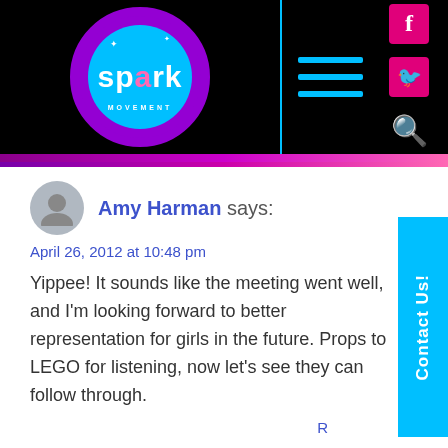[Figure (logo): Spark Movement logo — circular badge in cyan and purple on black header with hamburger menu, Facebook, Twitter, and search icons]
Amy Harman says:
April 26, 2012 at 10:48 pm
Yippee! It sounds like the meeting went well, and I'm looking forward to better representation for girls in the future. Props to LEGO for listening, now let's see they can follow through.
Brett says: